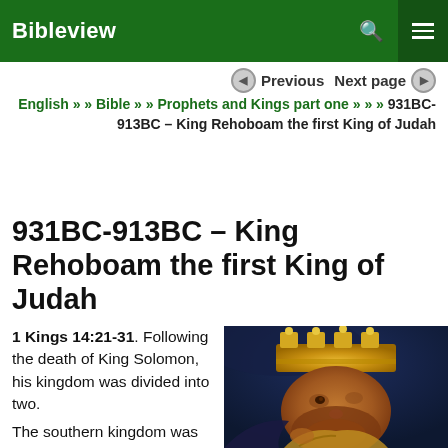Bibleview
Previous  Next page
English » » Bible » » Prophets and Kings part one » » » 931BC-913BC – King Rehoboam the first King of Judah
931BC-913BC – King Rehoboam the first King of Judah
1 Kings 14:21-31. Following the death of King Solomon, his kingdom was divided into two.
The southern kingdom was called the House of Judah, and in 931BC, King Solomon's
[Figure (illustration): Painting of a king wearing a golden crown, depicted in a reddish-brown painterly style, close-up portrait view]